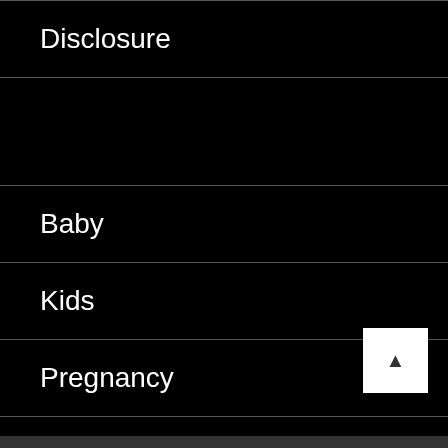Disclosure
Baby
Kids
Pregnancy
The Home